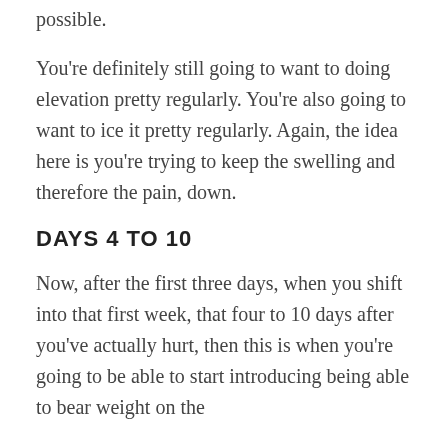possible.
You're definitely still going to want to doing elevation pretty regularly. You're also going to want to ice it pretty regularly. Again, the idea here is you're trying to keep the swelling and therefore the pain, down.
DAYS 4 TO 10
Now, after the first three days, when you shift into that first week, that four to 10 days after you've actually hurt, then this is when you're going to be able to start introducing being able to bear weight on the